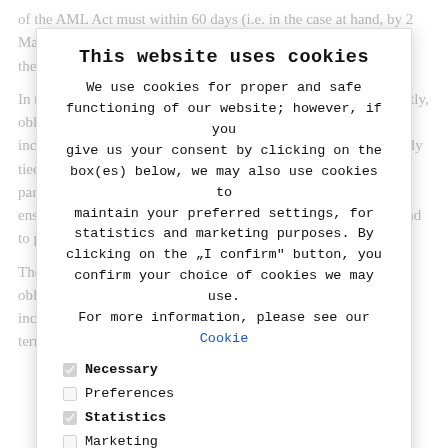of the AML Act must within 60 days (i.e. in the case at hand, by 2 March 2021) comply with the duties and obligations set out for them in the AML Act.
In this respect, one may differentiate between two categories: firstly, obligations in connection with a particular transaction (which include e.g. the KYC procedure), and secondly, obligations directly tied to the status of being an obliged person. These include, in particular, the obligation to have internal principles designed to ensure AML compliance, the obligation to assess ML/TF risks, and to promote AML awareness.
The AML Act also designates certain entities whose introductory obligations are extended, among other specific obligations, to include ML/TF fields of money laundering or financing of terrorism, whereas
[Figure (screenshot): Cookie consent overlay dialog. Title: 'This website uses cookies'. Body text: 'We use cookies for proper and safe functioning of our website; however, if you give us your consent by clicking on the box(es) below, we may also use cookies to maintain your preferred settings, for statistics and marketing purposes. By clicking on the "I confirm" button, you confirm your choice of cookies we may use. For more information, please see our Cookie'. Checkboxes: Necessary (checked), Preferences (unchecked), Statistics (checked), Marketing (unchecked). 'Show more' link. Blue 'I confirm' button.]